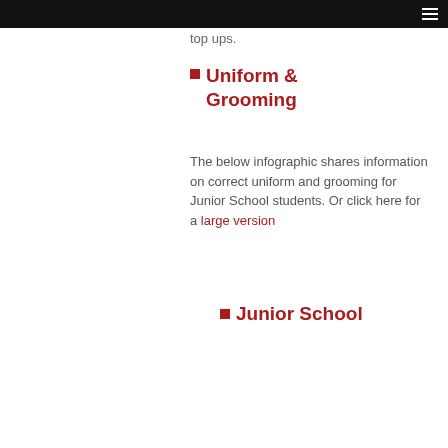top ups.
Uniform & Grooming
The below infographic shares information on correct uniform and grooming for Junior School students. Or click here for a large version
Junior School